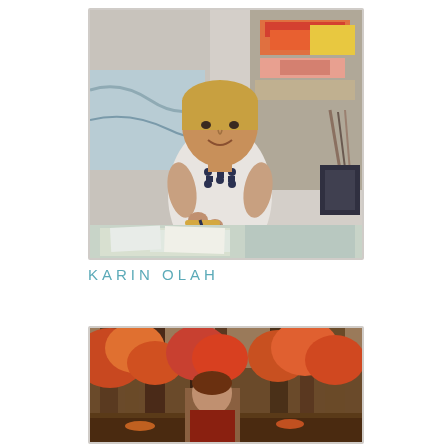[Figure (photo): Woman with short blonde hair wearing a white and navy patterned dress, standing in an art studio holding a paintbrush, with shelves of colorful fabric and art supplies behind her and a painting/canvas in the foreground.]
KARIN OLAH
[Figure (photo): Outdoor autumn forest scene with a person partially visible among trees with orange and red fall foliage.]